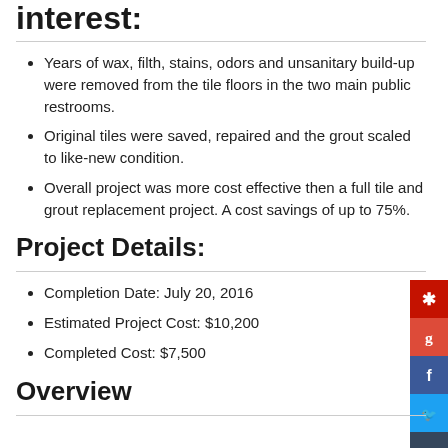interest:
Years of wax, filth, stains, odors and unsanitary build-up were removed from the tile floors in the two main public restrooms.
Original tiles were saved, repaired and the grout scaled to like-new condition.
Overall project was more cost effective then a full tile and grout replacement project. A cost savings of up to 75%.
Project Details:
Completion Date: July 20, 2016
Estimated Project Cost: $10,200
Completed Cost: $7,500
Overview